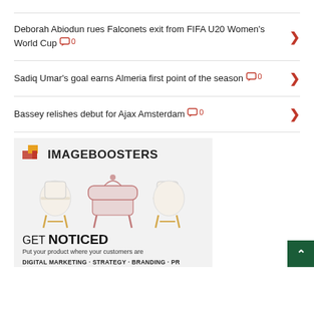Deborah Abiodun rues Falconets exit from FIFA U20 Women's World Cup  0
Sadiq Umar's goal earns Almeria first point of the season  0
Bassey relishes debut for Ajax Amsterdam  0
[Figure (advertisement): ImageBoosters advertisement showing three chairs (two white modern, one ornate pink), tagline GET NOTICED, Put your product where your customers are, DIGITAL MARKETING · STRATEGY · BRANDING · PR]